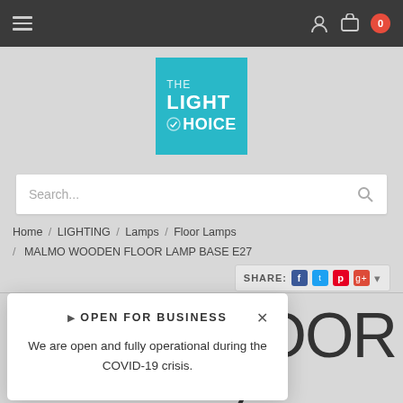[Figure (screenshot): Top navigation bar with hamburger menu, user icon, cart icon with badge showing 0]
[Figure (logo): The Light Choice logo — teal/cyan square with white text THE LIGHT CHOICE and a checkmark circle]
Search...
Home / LIGHTING / Lamps / Floor Lamps / MALMO WOODEN FLOOR LAMP BASE E27
SHARE:
▶ OPEN FOR BUSINESS
We are open and fully operational during the COVID-19 crisis.
LOOR